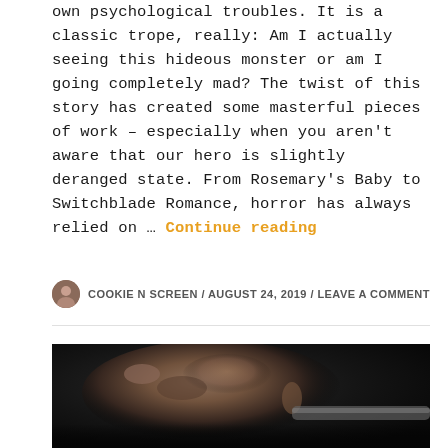own psychological troubles. It is a classic trope, really: Am I actually seeing this hideous monster or am I going completely mad? The twist of this story has created some masterful pieces of work – especially when you aren't aware that our hero is slightly deranged state. From Rosemary's Baby to Switchblade Romance, horror has always relied on … Continue reading
COOKIE N SCREEN / AUGUST 24, 2019 / LEAVE A COMMENT
[Figure (photo): Dark cinematic still of a man's face in close-up, looking stressed or distressed, with a cylindrical object (possibly a weapon or pipe) visible in the right portion of the frame. Low-key lighting with dark tones.]